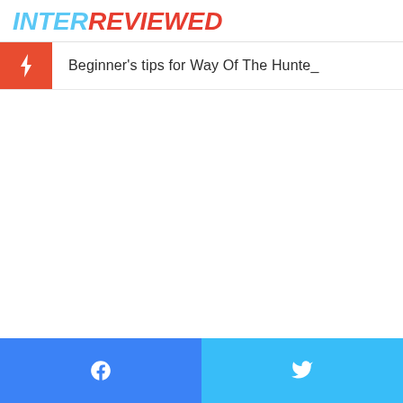INTERREVIEWED
Beginner's tips for Way Of The Hunte_
Facebook share | Twitter share